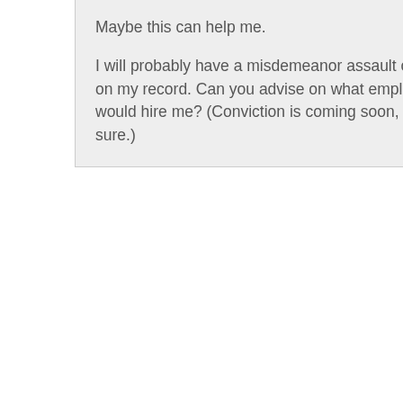Maybe this can help me.

I will probably have a misdemeanor assault charge on my record. Can you advise on what employers would hire me? (Conviction is coming soon, I am sure.)